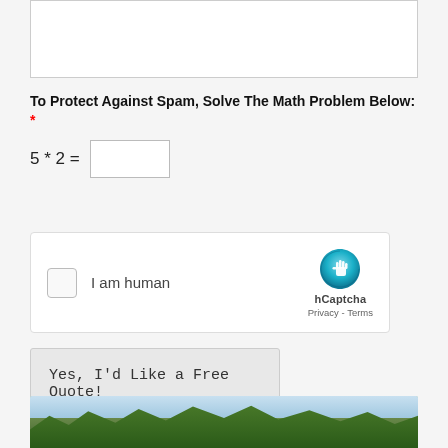[Figure (screenshot): Text area input box (empty, white background with resize handle)]
To Protect Against Spam, Solve The Math Problem Below: *
5 * 2 =
[Figure (screenshot): hCaptcha widget showing checkbox 'I am human' with hCaptcha logo, Privacy and Terms links]
[Figure (screenshot): Submit button labeled 'Yes, I'd Like a Free Quote!']
[Figure (photo): Outdoor photo showing trees and sky at the bottom of the page]